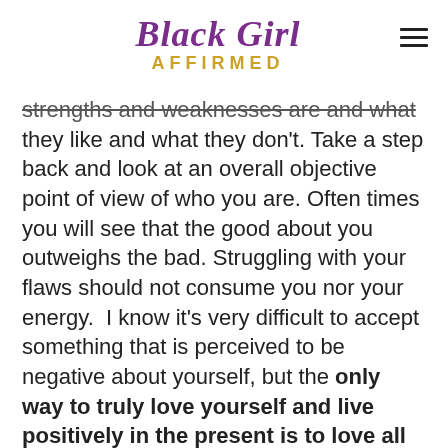Black Girl AFFIRMED
strengths and weaknesses are and what they like and what they don't. Take a step back and look at an overall objective point of view of who you are. Often times you will see that the good about you outweighs the bad. Struggling with your flaws should not consume you nor your energy.  I know it's very difficult to accept something that is perceived to be negative about yourself, but the only way to truly love yourself and live positively in the present is to love all parts of you — good, bad and the ugly.